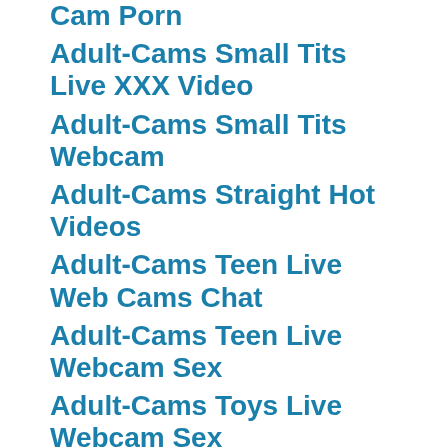Cam Porn
Adult-Cams Small Tits Live XXX Video
Adult-Cams Small Tits Webcam
Adult-Cams Straight Hot Videos
Adult-Cams Teen Live Web Cams Chat
Adult-Cams Teen Live Webcam Sex
Adult-Cams Toys Live Webcam Sex
Adult-Cams Toys Webcam Chat Room